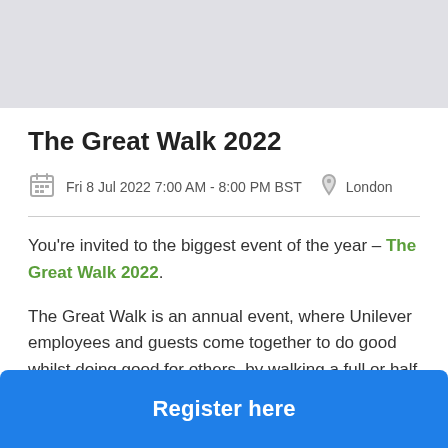The Great Walk 2022
Fri 8 Jul 2022 7:00 AM - 8:00 PM BST   London
You’re invited to the biggest event of the year – The Great Walk 2022.
The Great Walk is an annual event, where Unilever employees and guests come together to do good whilst doing good for others, by walking a full or half marathon and raising money for charity.
Register here